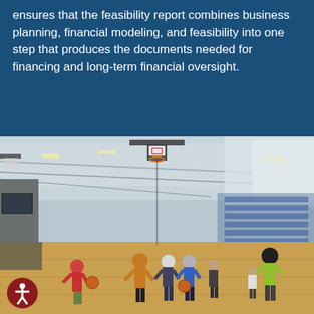ensures that the feasibility report combines business planning, financial modeling, and feasibility into one step that produces the documents needed for financing and long-term financial oversight.
[Figure (photo): Indoor basketball gymnasium with high ceilings, basketball hoops, and a group of youth players practicing on a hardwood court. One coach in a yellow shirt directs players.]